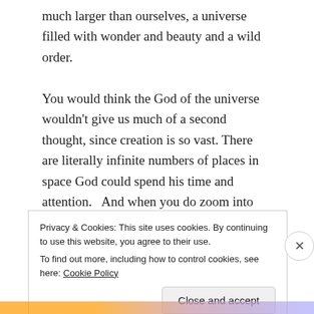much larger than ourselves, a universe filled with wonder and beauty and a wild order.

You would think the God of the universe wouldn't give us much of a second thought, since creation is so vast. There are literally infinite numbers of places in space God could spend his time and attention.   And when you do zoom into Earth, and see the rubble and despair in Aleppo, the corruption in governments, and all the ways we hurt each other, you might think God would rather birth a new star or throw rocks into black holes rather than spend time with us.
Privacy & Cookies: This site uses cookies. By continuing to use this website, you agree to their use.
To find out more, including how to control cookies, see here: Cookie Policy
Close and accept